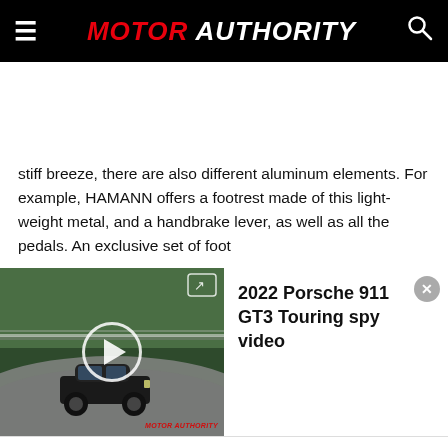MOTOR AUTHORITY
stiff breeze, there are also different aluminum elements. For example, HAMANN offers a footrest made of this light-weight metal, and a handbrake lever, as well as all the pedals. An exclusive set of foot
[Figure (screenshot): Video thumbnail showing a Porsche 911 GT3 on a race track (Nurburgring), with play button overlay and Motor Authority watermark. Video title panel reads: 2022 Porsche 911 GT3 Touring spy video]